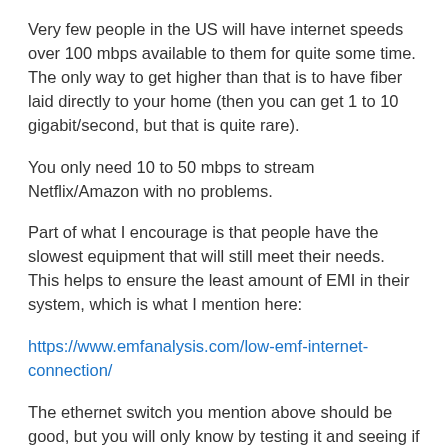Very few people in the US will have internet speeds over 100 mbps available to them for quite some time. The only way to get higher than that is to have fiber laid directly to your home (then you can get 1 to 10 gigabit/second, but that is quite rare).
You only need 10 to 50 mbps to stream Netflix/Amazon with no problems.
Part of what I encourage is that people have the slowest equipment that will still meet their needs. This helps to ensure the least amount of EMI in their system, which is what I mention here:
https://www.emfanalysis.com/low-emf-internet-connection/
The ethernet switch you mention above should be good, but you will only know by testing it and seeing if its power supply is quiet. I also encourage the ethernet grounding adapter mentioned in the article above to